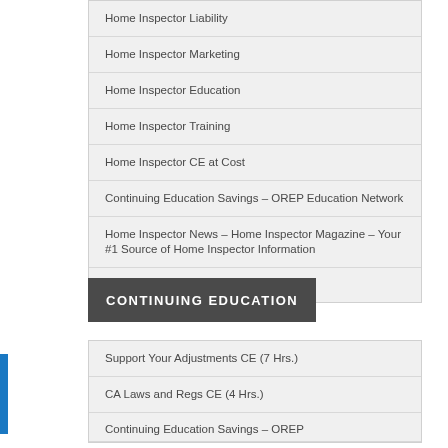Home Inspector Liability
Home Inspector Marketing
Home Inspector Education
Home Inspector Training
Home Inspector CE at Cost
Continuing Education Savings – OREP Education Network
Home Inspector News – Home Inspector Magazine – Your #1 Source of Home Inspector Information
Home Inspector Insurance Requirements
CONTINUING EDUCATION
Support Your Adjustments CE (7 Hrs.)
CA Laws and Regs CE (4 Hrs.)
Continuing Education Savings – OREP